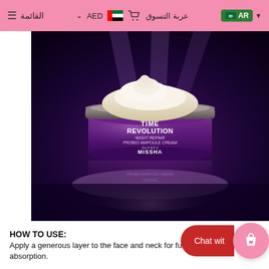القائمة  ≡   AED ∨   عربة التسوق   AR ▾
[Figure (photo): Product photo of MISSHA Time Revolution Night Repair Probio Ampoule Cream jar against a dark purple glowing background with light beams.]
HOW TO USE:
Apply a generous layer to the face and neck for full absorption.